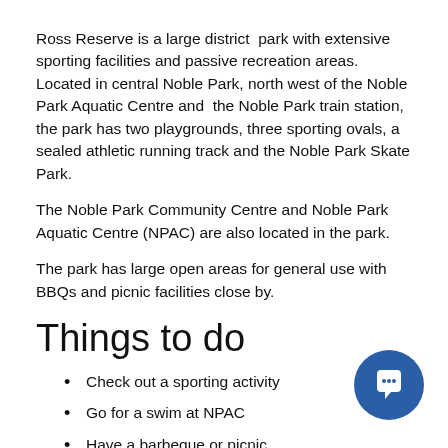Ross Reserve is a large district park with extensive sporting facilities and passive recreation areas. Located in central Noble Park, north west of the Noble Park Aquatic Centre and the Noble Park train station, the park has two playgrounds, three sporting ovals, a sealed athletic running track and the Noble Park Skate Park.
The Noble Park Community Centre and Noble Park Aquatic Centre (NPAC) are also located in the park.
The park has large open areas for general use with BBQs and picnic facilities close by.
Things to do
Check out a sporting activity
Go for a swim at NPAC
Have a barbeque or picnic